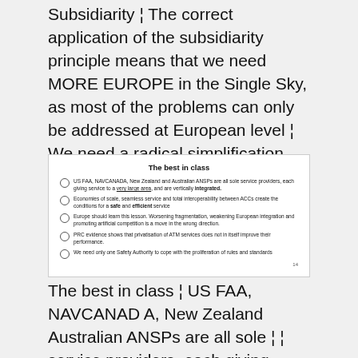Subsidiarity ¦ The correct application of the subsidiarity principle means that we need MORE EUROPE in the Single Sky, as most of the problems can only be addressed at European level ¦ We need a radical simplification … ¦ with a soft transition process 9
The best in class
US FAA, NAVCANADA, New Zealand and Australian ANSPs are all sole service providers, each giving service to a very large area, and are vertically integrated.
Economies of scale, seamless service and total interoperability between ACCs create the conditions for a safe and efficient service
Europe should learn this lesson. Worsening fragmentation, weakening European integration and promoting artificial competition is a move in the wrong direction.
PRC evidence shows that privatisation of ATM services does not in itself improve their performance.
We need only one Safety Authority to cope with the proliferation of rules and standards
The best in class ¦ US FAA, NAVCANADA, New Zealand Australian ANSPs are all sole ¦ ¦ service providers, each giving service to a very large area, and are vertically integrated. Economies of scale,